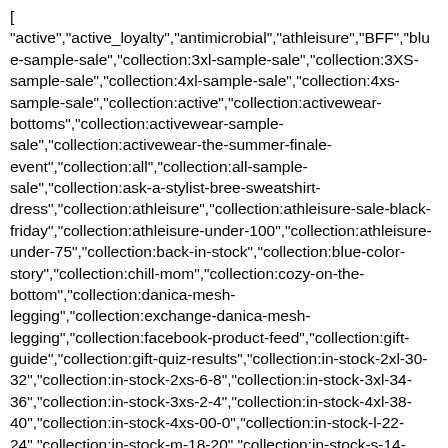[ "active","active_loyalty","antimicrobial","athleisure","BFF","blue-sample-sale","collection:3xl-sample-sale","collection:3XS-sample-sale","collection:4xl-sample-sale","collection:4xs-sample-sale","collection:active","collection:activewear-bottoms","collection:activewear-sample-sale","collection:activewear-the-summer-finale-event","collection:all","collection:all-sample-sale","collection:ask-a-stylist-bree-sweatshirt-dress","collection:athleisure","collection:athleisure-sale-black-friday","collection:athleisure-under-100","collection:athleisure-under-75","collection:back-in-stock","collection:blue-color-story","collection:chill-mom","collection:cozy-on-the-bottom","collection:danica-mesh-legging","collection:exchange-danica-mesh-legging","collection:facebook-product-feed","collection:gift-guide","collection:gift-quiz-results","collection:in-stock-2xl-30-32","collection:in-stock-2xs-6-8","collection:in-stock-3xl-34-36","collection:in-stock-3xs-2-4","collection:in-stock-4xl-38-40","collection:in-stock-4xs-00-0","collection:in-stock-l-22-24","collection:in-stock-m-18-20","collection:in-stock-s-14-16","collection:in-stock-xl-26-28","collection:in-stock-xs-10-12","collection:l-sample-sale","collection:legging-bundles","collection:leggings-athleisure","collection:m-sample-sale","collection:memorial-day-weekend-sale","collection:our-favorite-fog-looks","collection:pants-joggers","collection:pants-leggings-1","collection:pants-yoga-pants-joggers","collection:price-all...